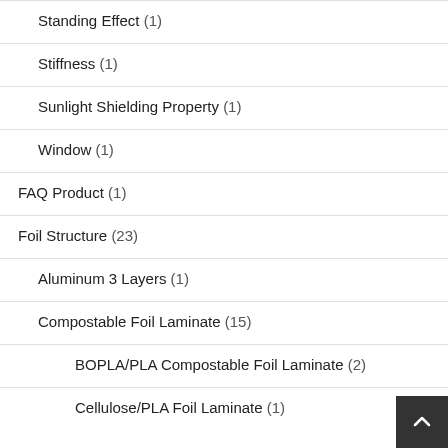Standing Effect (1)
Stiffness (1)
Sunlight Shielding Property (1)
Window (1)
FAQ Product (1)
Foil Structure (23)
Aluminum 3 Layers (1)
Compostable Foil Laminate (15)
BOPLA/PLA Compostable Foil Laminate (2)
Cellulose/PLA Foil Laminate (1)
Kraft Paper/BOPLA Laminate (1)
Kraft Paper/MPT/PLA Compostable Foil (2)